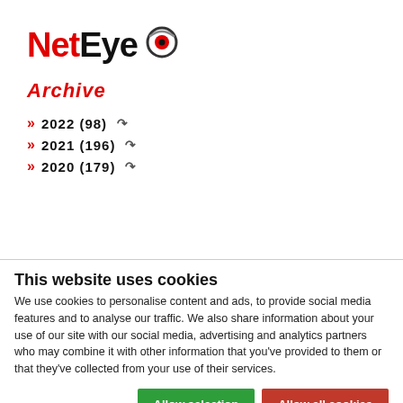[Figure (logo): NetEye logo with red 'Net' text, black 'Eye' text, and a stylized red/black eye icon]
Archive
» 2022 (98) ↓
» 2021 (196) ↓
» 2020 (179) ↓
This website uses cookies
We use cookies to personalise content and ads, to provide social media features and to analyse our traffic. We also share information about your use of our site with our social media, advertising and analytics partners who may combine it with other information that you've provided to them or that they've collected from your use of their services.
Allow selection | Allow all cookies
Necessary  Preferences  Statistics  Marketing  Show details